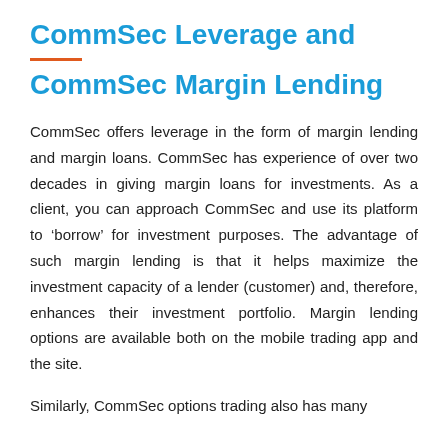CommSec Leverage and CommSec Margin Lending
CommSec offers leverage in the form of margin lending and margin loans. CommSec has experience of over two decades in giving margin loans for investments. As a client, you can approach CommSec and use its platform to ‘borrow’ for investment purposes. The advantage of such margin lending is that it helps maximize the investment capacity of a lender (customer) and, therefore, enhances their investment portfolio. Margin lending options are available both on the mobile trading app and the site.
Similarly, CommSec options trading also has many